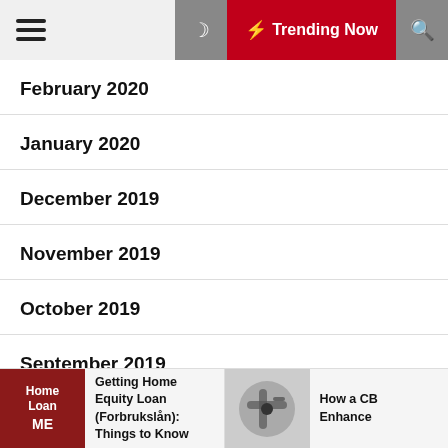Trending Now
February 2020
January 2020
December 2019
November 2019
October 2019
September 2019
August 2019
Getting Home Equity Loan (Forbrukslån): Things to Know | How a CB Enhance